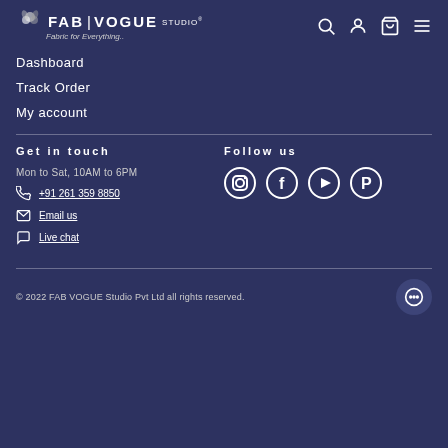FAB VOGUE STUDIO® — Fabric for Everything..
Dashboard
Track Order
My account
Get in touch
Follow us
Mon to Sat, 10AM to 6PM
+91 261 359 8850
Email us
Live chat
[Figure (logo): Instagram, Facebook, YouTube, Pinterest social media icons]
© 2022 FAB VOGUE Studio Pvt Ltd all rights reserved.